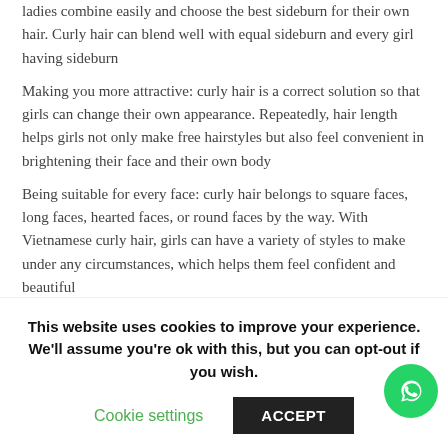ladies combine easily and choose the best sideburn for their own hair. Curly hair can blend well with equal sideburn and every girl having sideburn
Making you more attractive: curly hair is a correct solution so that girls can change their own appearance. Repeatedly, hair length helps girls not only make free hairstyles but also feel convenient in brightening their face and their own body
Being suitable for every face: curly hair belongs to square faces, long faces, hearted faces, or round faces by the way. With Vietnamese curly hair, girls can have a variety of styles to make under any circumstances, which helps them feel confident and beautiful
And these are some disadvantages you can consider:
This website uses cookies to improve your experience. We'll assume you're ok with this, but you can opt-out if you wish.
Cookie settings
ACCEPT